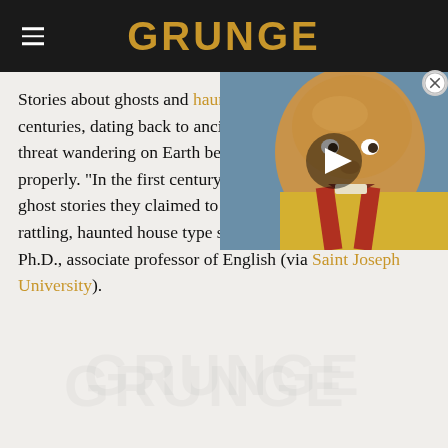GRUNGE
[Figure (screenshot): Video overlay thumbnail showing a bald man in a yellow and red outfit, with a play button icon in the center and a close (X) button in the top-right corner]
Stories about ghosts and hauntings have been told for centuries, dating back to ancient accounts, ghosts are not a threat wandering on Earth because they were not buried properly. "In the first century, they wrote letters recounting ghost stories they claimed to have witnessed – chains rattling, haunted house type stories," says Paul Patterson, Ph.D., associate professor of English (via Saint Joseph University).